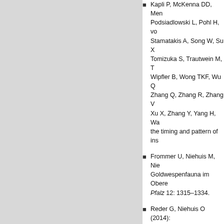Kapli P, McKenna DD, Meng... Podsiadlowski L, Pohl H, vo... Stamatakis A, Song W, Su X, Tomizuka S, Trautwein M, T... Wipfler B, Wong TKF, Wu Q... Zhang Q, Zhang R, Zhang V... Xu X, Zhang Y, Yang H, Wa... the timing and pattern of ins...
Frommer U, Niehuis M, Nieh... Goldwespenfauna im Obere... Pfalz 12: 1315–1334.
Reder G, Niehuis O (2014): bemerkenswerte Wespenfu... Ampulex 6: 5–12.
Peters RS, Meusemann K, ... Aberer A, Stamatakis A, Frie... holometabolous insects infe... Evolutionary Biology 14: 52.
Evans JD, Brown SJ, Hacke... Gabaldon T, Goldsmith M, H... Purcell-Miramontes M, Robe... initiative: advancing arthrop... Heredity 104: 595–600.
Gibson JD*, Niehuis O*, Pe... breakdown in Nasonia para...
Niehuis O*, Büllesbach J*, G... (2013): Behavioural and gen...